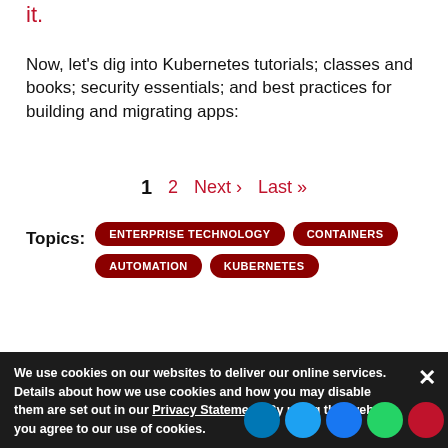it.
Now, let's dig into Kubernetes tutorials; classes and books; security essentials; and best practices for building and migrating apps:
1  2  Next ›  Last »
Topics:  ENTERPRISE TECHNOLOGY  CONTAINERS  AUTOMATION  KUBERNETES
We use cookies on our websites to deliver our online services. Details about how we use cookies and how you may disable them are set out in our Privacy Statement. By using this website you agree to our use of cookies.
Subscribe to